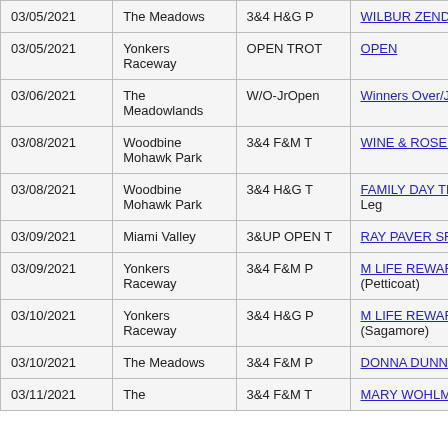| Date | Venue | Class | Race/Event |
| --- | --- | --- | --- |
| 03/05/2021 | The Meadows | 3&4 H&G P | WILBUR ZENDT MEM. 1st Leg |
| 03/05/2021 | Yonkers Raceway | OPEN TROT | OPEN |
| 03/06/2021 | The Meadowlands | W/O-JrOpen | Winners Over/Junior O... |
| 03/08/2021 | Woodbine Mohawk Park | 3&4 F&M T | WINE & ROSES 1st L... |
| 03/08/2021 | Woodbine Mohawk Park | 3&4 H&G T | FAMILY DAY TROTTING SERIES 1st Leg |
| 03/09/2021 | Miami Valley | 3&UP OPEN T | RAY PAVER SR. MEM... |
| 03/09/2021 | Yonkers Raceway | 3&4 F&M P | M LIFE REWARDS LA... 2nd Leg (Petticoat) |
| 03/10/2021 | Yonkers Raceway | 3&4 H&G P | M LIFE REWARDS G... 2nd Leg (Sagamore) |
| 03/10/2021 | The Meadows | 3&4 F&M P | DONNA DUNN MEM.... Leg |
| 03/11/2021 | The | 3&4 F&M T | MARY WOHLMUTH M... |